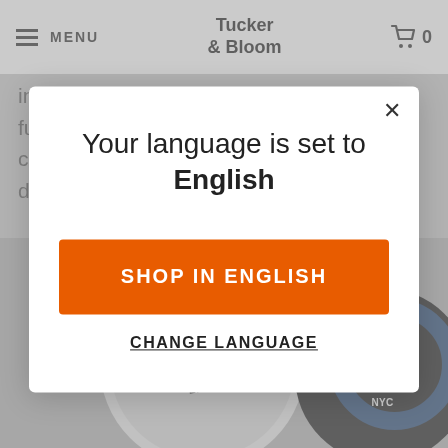MENU | Tucker & Bloom | 0
interesting collaborative tape that is full of fuzz drenched basslines and bugged out chops of samples strung together as a densely packed
[Figure (screenshot): Bottom portion of a webpage showing circular badge stickers with text 'LOVE INJECTION ZINES & RECORDS NYC' and 'RECO NYC ERSAL' on grey background]
Your language is set to English
SHOP IN ENGLISH
CHANGE LANGUAGE